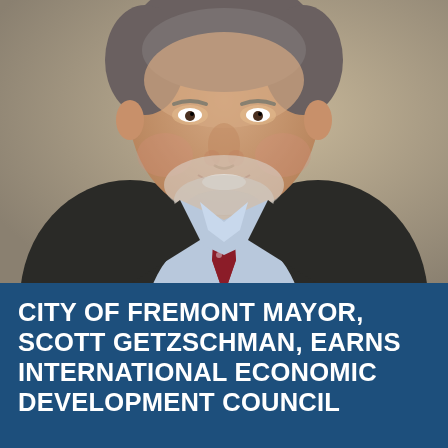[Figure (photo): Professional headshot of a middle-aged man with gray-white stubble beard, wearing a dark suit jacket, light blue dress shirt, and a red patterned tie. He is smiling and photographed against a neutral beige/gray background.]
CITY OF FREMONT MAYOR, SCOTT GETZSCHMAN, EARNS INTERNATIONAL ECONOMIC DEVELOPMENT COUNCIL